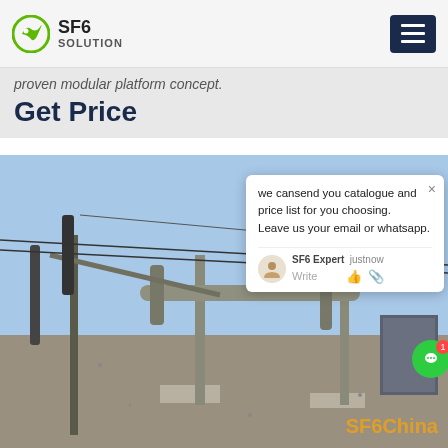SF6 SOLUTION
proven modular platform concept.
Get Price
[Figure (photo): Outdoor electrical substation with SF6 gas-insulated switchgear pipes and equipment mounted on concrete bases, blue sky background. An overlaid chat popup reads: 'we cansend you catalogue and price list for you choosing. Leave us your email or whatsapp.' with SF6 Expert label and Write input box. A green chat button with badge '1' appears on the right. SF6China watermark in bottom right.]